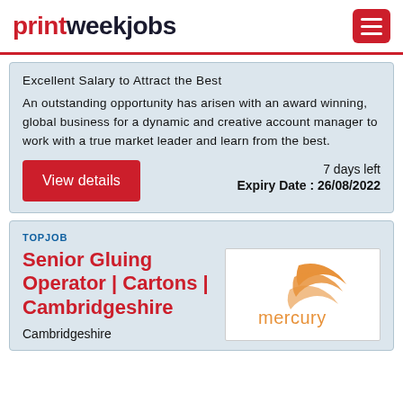printweekjobs
Excellent Salary to Attract the Best
An outstanding opportunity has arisen with an award winning, global business for a dynamic and creative account manager to work with a true market leader and learn from the best.
7 days left
Expiry Date : 26/08/2022
TOPJOB
Senior Gluing Operator | Cartons | Cambridgeshire
Cambridgeshire
[Figure (logo): Mercury company logo — orange stylised wing/swoosh above the word 'mercury' in orange]